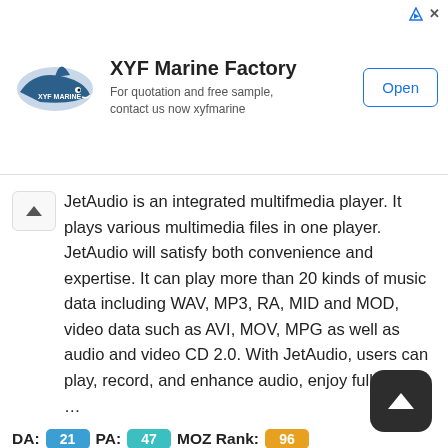[Figure (other): XYF Marine Factory advertisement banner with shark logo, title, subtitle, and Open button]
JetAudio is an integrated multifmedia player. It plays various multimedia files in one player. JetAudio will satisfy both convenience and expertise. It can play more than 20 kinds of music data including WAV, MP3, RA, MID and MOD, video data such as AVI, MOV, MPG as well as audio and video CD 2.0. With JetAudio, users can play, record, and enhance audio, enjoy full screen …
DA: 21  PA: 47  MOZ Rank: 96
✓Amazon.com. Spend less. Smile more. 🔗
amazon.com
https://www.amazon.com/Leupold-VX-Freedom-3-9-Scope/dp/B09C64L4RP